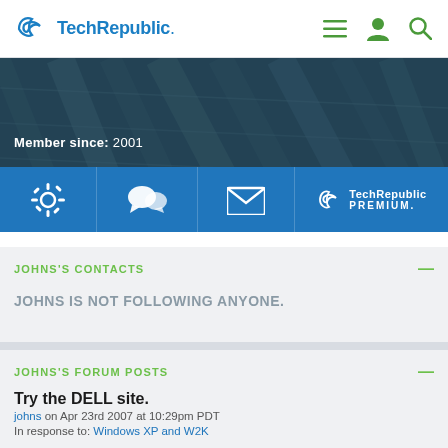TechRepublic
Member since: 2001
[Figure (screenshot): TechRepublic icon toolbar with settings gear, forum/chat, envelope/messages, and TechRepublic Premium icons on blue background]
JOHNS'S CONTACTS
JOHNS IS NOT FOLLOWING ANYONE.
JOHNS'S FORUM POSTS
Try the DELL site.
johns on Apr 23rd 2007 at 10:29pm PDT
In response to: Windows XP and W2K